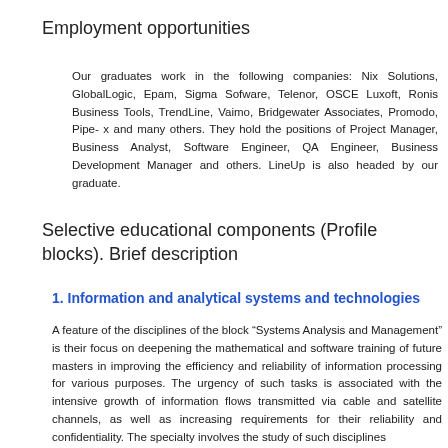Employment opportunities
Our graduates work in the following companies: Nix Solutions, GlobalLogic, Epam, Sigma Sofware, Telenor, OSCE Luxoft, Ronis Business Tools, TrendLine, Vaimo, Bridgewater Associates, Promodo, Pipe- x and many others. They hold the positions of Project Manager, Business Analyst, Software Engineer, QA Engineer, Business Development Manager and others. LineUp is also headed by our graduate.
Selective educational components (Profile blocks). Brief description
1. Information and analytical systems and technologies
A feature of the disciplines of the block “Systems Analysis and Management” is their focus on deepening the mathematical and software training of future masters in improving the efficiency and reliability of information processing for various purposes. The urgency of such tasks is associated with the intensive growth of information flows transmitted via cable and satellite channels, as well as increasing requirements for their reliability and confidentiality. The specialty involves the study of such disciplines